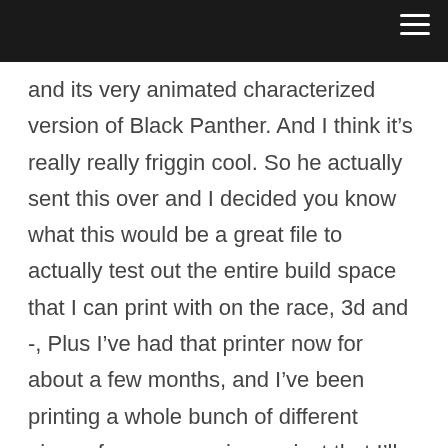and its very animated characterized version of Black Panther. And I think it’s really really friggin cool. So he actually sent this over and I decided you know what this would be a great file to actually test out the entire build space that I can print with on the race, 3d and -, Plus I’ve had that printer now for about a few months, and I’ve been printing a whole bunch of different pieces for an upcoming project that I’ll